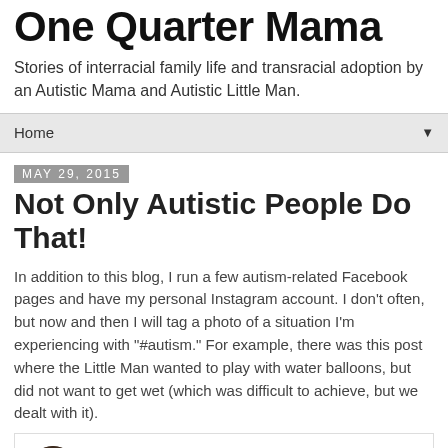One Quarter Mama
Stories of interracial family life and transracial adoption by an Autistic Mama and Autistic Little Man.
Home ▼
May 29, 2015
Not Only Autistic People Do That!
In addition to this blog, I run a few autism-related Facebook pages and have my personal Instagram account. I don't often, but now and then I will tag a photo of a situation I'm experiencing with "#autism." For example, there was this post where the Little Man wanted to play with water balloons, but did not want to get wet (which was difficult to achieve, but we dealt with it).
[Figure (screenshot): Instagram profile embed showing kbronjohn with 926 followers and a View profile button]